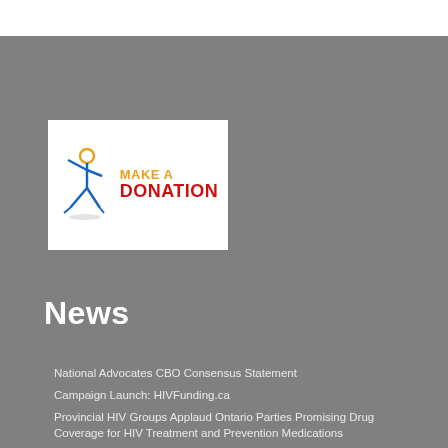[Figure (logo): Make a Donation logo with stick figure in blue and orange/yellow, text MAKE A DONATION in orange and red on white background]
News
National Advocates CBO Consensus Statement
Campaign Launch: HIVFunding.ca
Provincial HIV Groups Applaud Ontario Parties Promising Drug Coverage for HIV Treatment and Prevention Medications